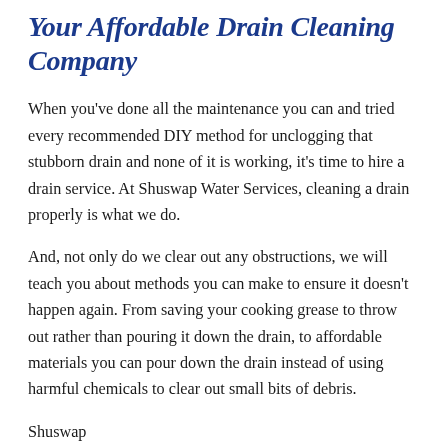Your Affordable Drain Cleaning Company
When you've done all the maintenance you can and tried every recommended DIY method for unclogging that stubborn drain and none of it is working, it's time to hire a drain service. At Shuswap Water Services, cleaning a drain properly is what we do.
And, not only do we clear out any obstructions, we will teach you about methods you can make to ensure it doesn't happen again. From saving your cooking grease to throw out rather than pouring it down the drain, to affordable materials you can pour down the drain instead of using harmful chemicals to clear out small bits of debris.
Shuswap...